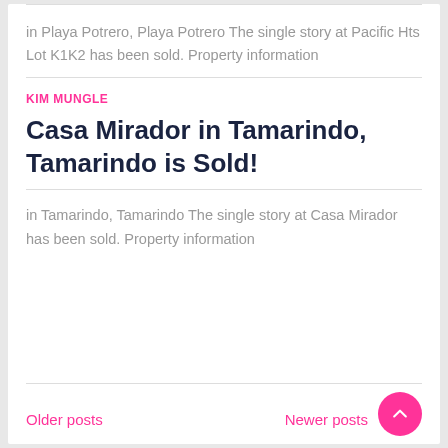in Playa Potrero, Playa Potrero The single story at Pacific Hts Lot K1K2 has been sold. Property information
KIM MUNGLE
Casa Mirador in Tamarindo, Tamarindo is Sold!
in Tamarindo, Tamarindo The single story at Casa Mirador has been sold. Property information
Older posts   Newer posts